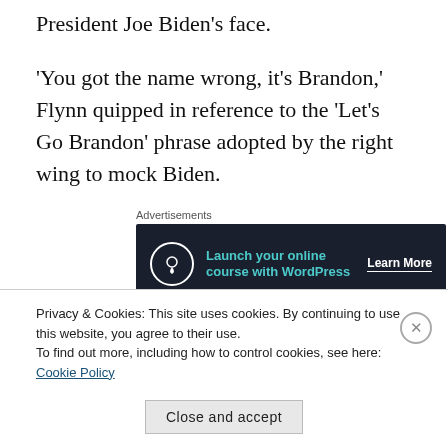President Joe Biden’s face.
‘You got the name wrong, it’s Brandon,’ Flynn quipped in reference to the ‘Let’s Go Brandon’ phrase adopted by the right wing to mock Biden.
Advertisements
[Figure (other): Dark advertisement banner for launching online courses with WordPress. Shows a tree icon, teal text 'Launch your online course with WordPress', and a 'Learn More' button.]
Another Joker card features Dr. Anthony Fauci
Privacy & Cookies: This site uses cookies. By continuing to use this website, you agree to their use.
To find out more, including how to control cookies, see here: Cookie Policy
Close and accept